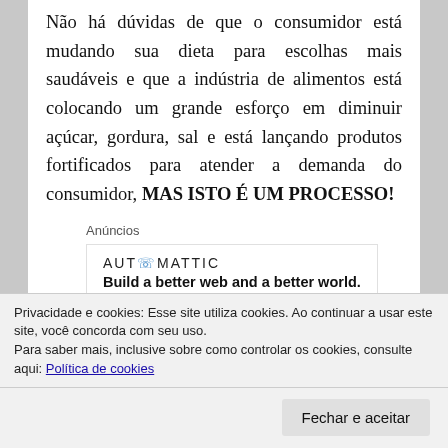Não há dúvidas de que o consumidor está mudando sua dieta para escolhas mais saudáveis e que a indústria de alimentos está colocando um grande esforço em diminuir açúcar, gordura, sal e está lançando produtos fortificados para atender a demanda do consumidor, MAS ISTO É UM PROCESSO!
[Figure (other): Automattic advertisement banner with logo text 'AUTOMATTIC' and tagline 'Build a better web and a better world.' with a report ad link below.]
Um processo para educar o consumidor a melhorar sua dieta e um processo para transformar o
Privacidade e cookies: Esse site utiliza cookies. Ao continuar a usar este site, você concorda com seu uso.
Para saber mais, inclusive sobre como controlar os cookies, consulte aqui: Política de cookies
Fechar e aceitar
Ainda está colocando seus esforços em criticar a